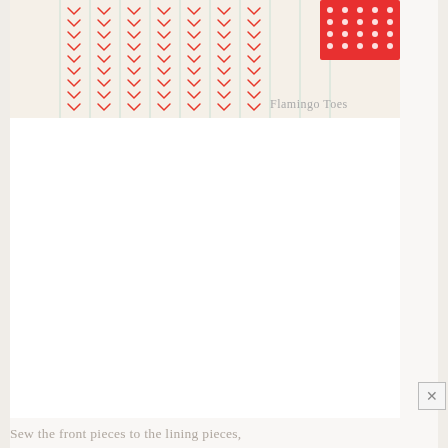[Figure (photo): Photo of a quilted fabric project with red chevron/arrow stitch pattern on white fabric with thin green stripes, and a small red polka-dot fabric piece in the upper right corner. Watermark 'Flamingo Toes' appears in gray text at bottom right of the image.]
Sew the front pieces to the lining pieces,